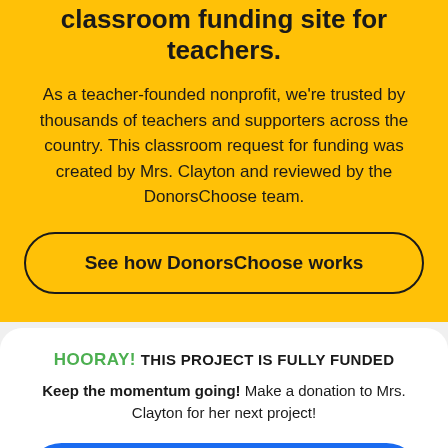classroom funding site for teachers.
As a teacher-founded nonprofit, we're trusted by thousands of teachers and supporters across the country. This classroom request for funding was created by Mrs. Clayton and reviewed by the DonorsChoose team.
See how DonorsChoose works
HOORAY! THIS PROJECT IS FULLY FUNDED
Keep the momentum going! Make a donation to Mrs. Clayton for her next project!
Help Mrs. Clayton